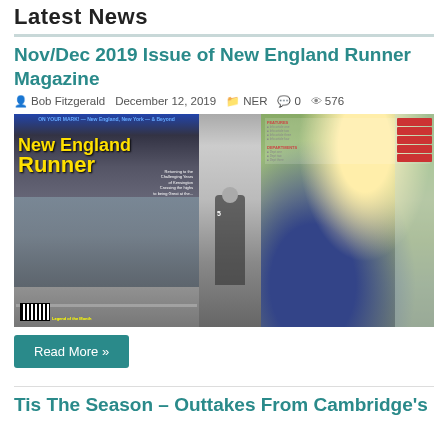Latest News
Nov/Dec 2019 Issue of New England Runner Magazine
Bob Fitzgerald   December 12, 2019   NER   0   576
[Figure (photo): Cover images of New England Runner Magazine Nov/Dec 2019 issue, showing runners in a road race, a mid-race runner in black and white, and a college runner passing flowers]
Read More »
Tis The Season – Outtakes From Cambridge's